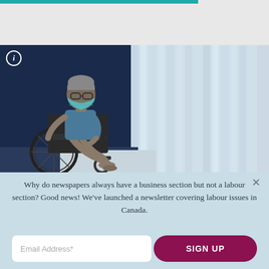[Figure (photo): Elderly man in a wheelchair wearing a blue medical mask, sitting by a window with vertical blinds, wearing a hospital gown. Dark blue background on the left, bright white blinds on the right.]
Why do newspapers always have a business section but not a labour section? Good news! We've launched a newsletter covering labour issues in Canada.
Email Address*
SIGN UP